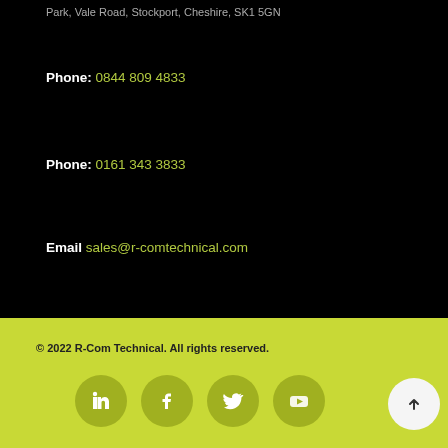Park, Vale Road, Stockport, Cheshire, SK1 5GN
Phone: 0844 809 4833
Phone: 0161 343 3833
Email sales@r-comtechnical.com
© 2022 R-Com Technical. All rights reserved.
[Figure (illustration): Social media icons: LinkedIn, Facebook, Twitter, YouTube, and a scroll-to-top button]